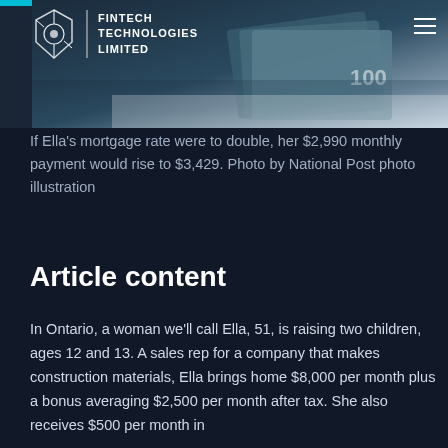[Figure (photo): Fintech Technologies Limited website header with logo on dark background, showing stacked Canadian $100 bills photo illustration. Navigation hamburger menu visible top right. Teal accent bar at very top.]
If Ella's mortgage rate were to double, her $2,990 monthly payment would rise to $3,429. Photo by National Post photo illustration
Article content
In Ontario, a woman we'll call Ella, 51, is raising two children, ages 12 and 13. A sales rep for a company that makes construction materials, Ella brings home $8,000 per month plus a bonus averaging $2,500 per month after tax. She also receives $500 per month in